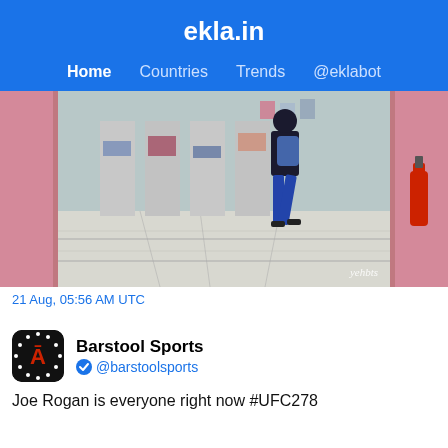ekla.in
Home  Countries  Trends  @eklabot
[Figure (photo): A person walking through a pink-walled store entrance with shelves and merchandise in the background. Watermark: yehbts]
21 Aug, 05:56 AM UTC
[Figure (logo): Barstool Sports circular logo with red stool icon on dark background surrounded by white dots]
Barstool Sports @barstoolsports
Joe Rogan is everyone right now #UFC278